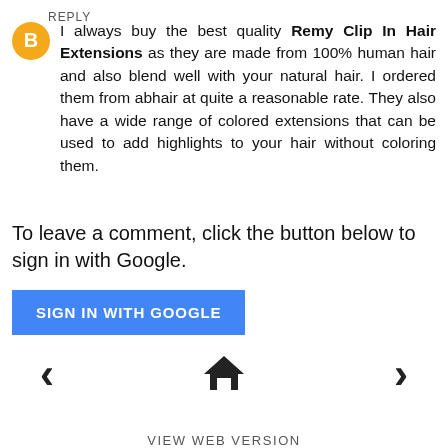I always buy the best quality Remy Clip In Hair Extensions as they are made from 100% human hair and also blend well with your natural hair. I ordered them from abhair at quite a reasonable rate. They also have a wide range of colored extensions that can be used to add highlights to your hair without coloring them.
REPLY
To leave a comment, click the button below to sign in with Google.
SIGN IN WITH GOOGLE
[Figure (other): Navigation bar with left arrow, home icon, and right arrow]
VIEW WEB VERSION